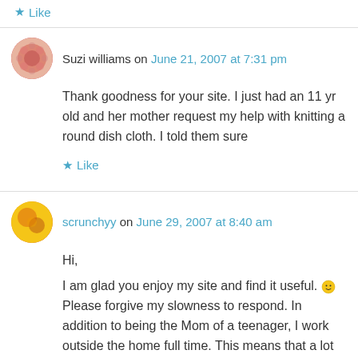Like
Suzi williams on June 21, 2007 at 7:31 pm
Thank goodness for your site. I just had an 11 yr old and her mother request my help with knitting a round dish cloth. I told them sure
Like
scrunchyy on June 29, 2007 at 8:40 am
Hi,
I am glad you enjoy my site and find it useful. :) Please forgive my slowness to respond. In addition to being the Mom of a teenager, I work outside the home full time. This means that a lot